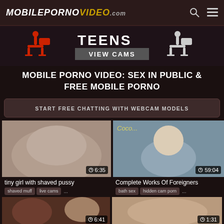MOBILEPORNOVIDEO.com
[Figure (illustration): Teens View Cams banner advertisement with silhouette figures on chairs]
MOBILE PORNO VIDEO: SEX IN PUBLIC & FREE MOBILE PORNO
START FREE CHATTING WITH WEBCAM MODELS
[Figure (photo): Video thumbnail - tiny girl with shaved pussy, duration 6:35]
tiny girl with shaved pussy
shaved muff  live cams  ...
[Figure (photo): Video thumbnail - Complete Works Of Foreigners, duration 59:04]
Complete Works Of Foreigners
bath sex  hidden cam porn  ...
[Figure (photo): Video thumbnail bottom left, duration 6:41]
[Figure (photo): Video thumbnail bottom right, duration 1:31]